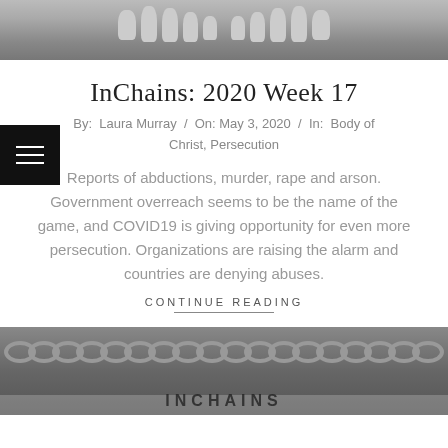[Figure (photo): Black and white photo showing bare feet/toes on sandy ground, cropped at the bottom of feet]
InChains: 2020 Week 17
By: Laura Murray / On: May 3, 2020 / In: Body of Christ, Persecution
Reports of abductions, murder, rape and arson. Government overreach seems to be the name of the game, and COVID19 is giving opportunity for even more persecution. Organizations are raising the alarm and countries are denying abuses.
CONTINUE READING
[Figure (photo): Black and white photo of hands bound in chains on a sandy surface, partially visible at bottom of page, with partial text overlay reading INCHAINS]